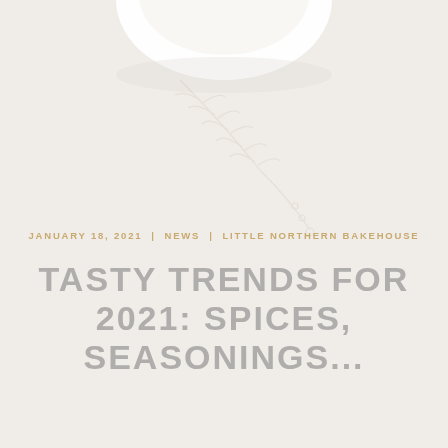[Figure (photo): Partial view of a white ceramic bowl or plate photographed from above, cropped at top of page]
JANUARY 18, 2021  |  NEWS  |  LITTLE NORTHERN BAKEHOUSE
TASTY TRENDS FOR 2021: SPICES, SEASONINGS...